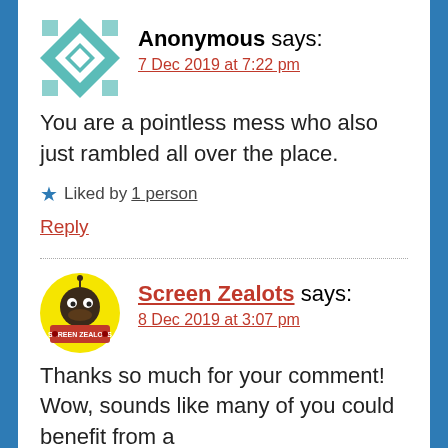[Figure (illustration): Teal and white geometric quilt-pattern avatar for Anonymous user]
Anonymous says:
7 Dec 2019 at 7:22 pm
You are a pointless mess who also just rambled all over the place.
★ Liked by 1 person
Reply
[Figure (logo): Screen Zealots circular yellow logo with illustrated character and red text]
Screen Zealots says:
8 Dec 2019 at 3:07 pm
Thanks so much for your comment! Wow, sounds like many of you could benefit from a